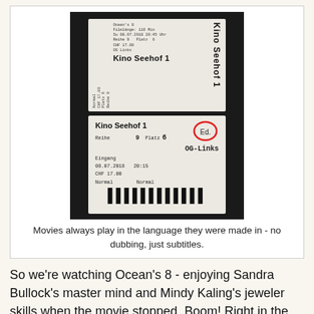[Figure (photo): A cinema ticket for Kino Seehof 1, showing Ocean's 8, dated 08.07.2018, 20:45 Uhr, Reihe 9, Platz 6, OG Links, CHF 17.00, Normal. A red circle is drawn around the seat number area. The ticket is photographed on a dark background and shows the ticket twice (top portion rotated, bottom portion straight).]
Movies always play in the language they were made in - no dubbing, just subtitles.
So we're watching Ocean's 8 - enjoying Sandra Bullock's master mind and Mindy Kaling's jeweler skills when the movie stopped. Boom! Right in the middle of an action scene, the film turns off.